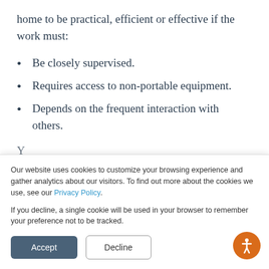home to be practical, efficient or effective if the work must:
Be closely supervised.
Requires access to non-portable equipment.
Depends on the frequent interaction with others.
Y...
Our website uses cookies to customize your browsing experience and gather analytics about our visitors. To find out more about the cookies we use, see our Privacy Policy.

If you decline, a single cookie will be used in your browser to remember your preference not to be tracked.